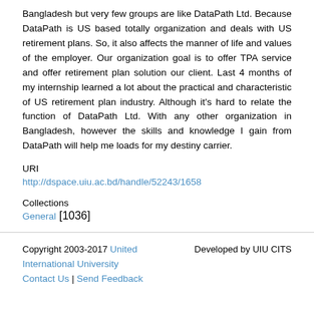Bangladesh but very few groups are like DataPath Ltd. Because DataPath is US based totally organization and deals with US retirement plans. So, it also affects the manner of life and values of the employer. Our organization goal is to offer TPA service and offer retirement plan solution our client. Last 4 months of my internship learned a lot about the practical and characteristic of US retirement plan industry. Although it's hard to relate the function of DataPath Ltd. With any other organization in Bangladesh, however the skills and knowledge I gain from DataPath will help me loads for my destiny carrier.
URI
http://dspace.uiu.ac.bd/handle/52243/1658
Collections
General [1036]
Copyright 2003-2017 United International University Contact Us | Send Feedback Developed by UIU CITS